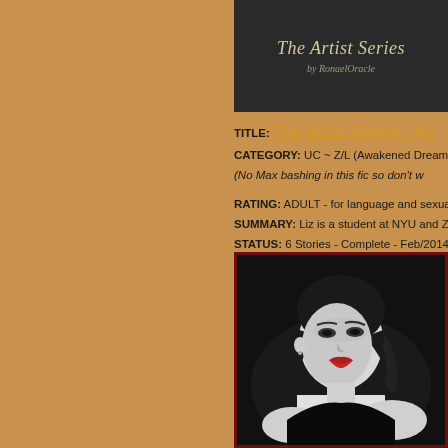[Figure (illustration): The Artist Series banner image by RonaelOracle on dark background with decorative text]
TITLE: The Artist Series - Nu...
CATEGORY: UC ~ Z/L (Awakened Dreamer) ~ A...
(No Max bashing in this fic so don't w...
RATING: ADULT - for language and sexual situa...
SUMMARY: Liz is a student at NYU and Zan is a...
STATUS: 6 Stories - Complete - Feb/2014
~*~*~...
[Figure (photo): Black and white portrait photo of a dark-haired woman with red lips, looking over her shoulder, with red border frame]